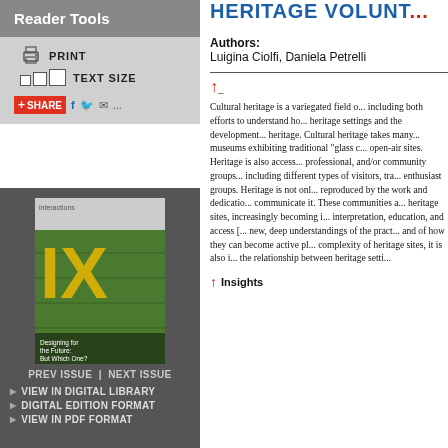Reader Tools
PRINT
TEXT SIZE
SHARE
[Figure (photo): Magazine cover showing a building with a green living wall, with 'IX' text overlay in yellow/orange. Text reads 'Designing for the Future: But Which One?']
PREV ISSUE | NEXT ISSUE
VIEW IN DIGITAL LIBRARY
DIGITAL EDITION FORMAT
VIEW IN PDF FORMAT
HERITAGE VOLUNT...
Authors:
Luigina Ciolfi, Daniela Petrelli
Cultural heritage is a variegated field of research and practice, including both efforts to understand how people engage with heritage settings and the development of technology for heritage. Cultural heritage takes many forms, ranging from museums exhibiting traditional "glass cabinet" objects to open-air sites. Heritage is also accessed by academic, professional, and/or community groups of people including different types of visitors, trained volunteers, and enthusiast groups. Heritage is not only conserved but also reproduced by the work and dedication of communities who communicate it. These communities are often embedded in heritage sites, increasingly becoming involved in their interpretation, education, and access [...]  new, deep understandings of the practices of these groups and of how they can become active players. Recognizing the complexity of heritage sites, it is also important to consider the relationship between heritage setti...
Insights